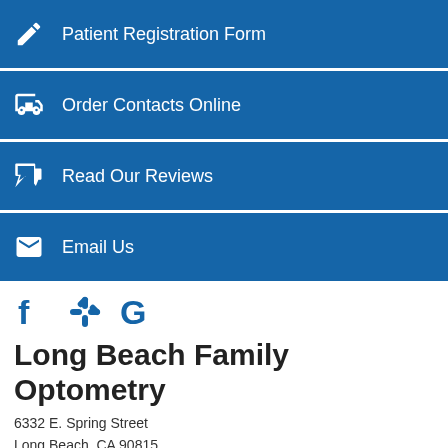Patient Registration Form
Order Contacts Online
Read Our Reviews
Email Us
[Figure (infographic): Social media icons: Facebook (f), Yelp (asterisk/flower), Google (G) in blue]
Long Beach Family Optometry
6332 E. Spring Street
Long Beach, CA 90815
Phone:
562-421-4488
Email:
2020@longbeachoptometry.com
(Do not send personal health information by email.)